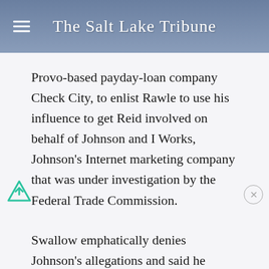The Salt Lake Tribune
Provo-based payday-loan company Check City, to enlist Rawle to use his influence to get Reid involved on behalf of Johnson and I Works, Johnson's Internet marketing company that was under investigation by the Federal Trade Commission.
Swallow emphatically denies Johnson's allegations and said he doesn't understand why Johnson is spreading lies about him.